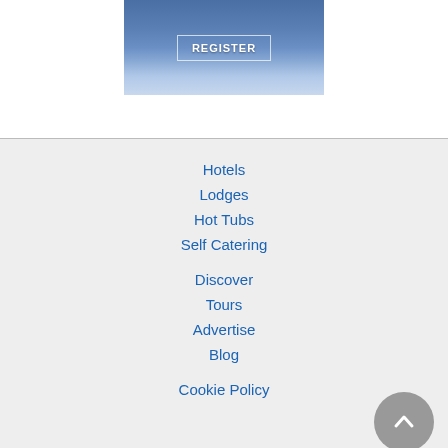[Figure (photo): Banner image with sky and clouds background, white text 'REGISTER' with white border rectangle overlay]
Hotels
Lodges
Hot Tubs
Self Catering
Discover
Tours
Advertise
Blog
Cookie Policy